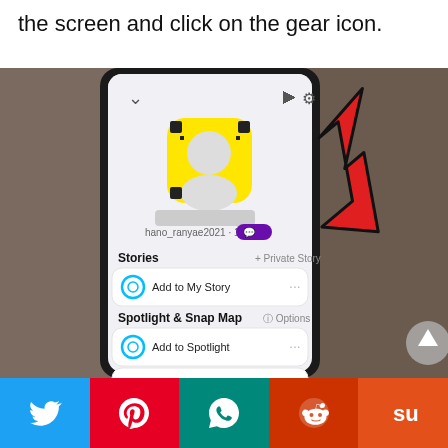the screen and click on the gear icon.
[Figure (screenshot): Snapchat profile settings page showing username 'hano_ranyae2021 · 1', Stories section with 'Add to My Story', Spotlight & Snap Map section with 'Add to Spotlight' and 'My Spotlight Favorites', Friends section, and a red arrow pointing to a gear icon in the top right.]
[Figure (infographic): Social media share bar at bottom with Twitter (blue), Pinterest (red), WhatsApp (teal), Reddit (orange-red), and StumbleUpon (orange) icons.]